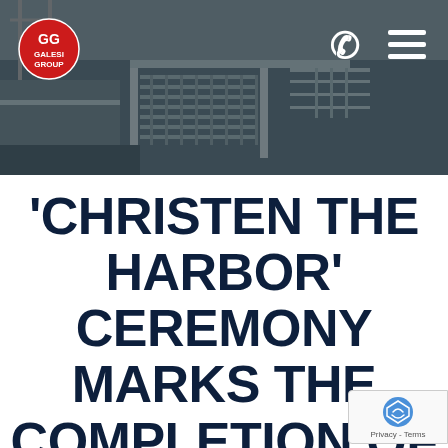[Figure (photo): Aerial view of a marina with boat docks and water, dark and overcast sky]
'CHRISTEN THE HARBOR' CEREMONY MARKS THE COMPLETION OF THE MARINA AT MOHAWK HARBOR